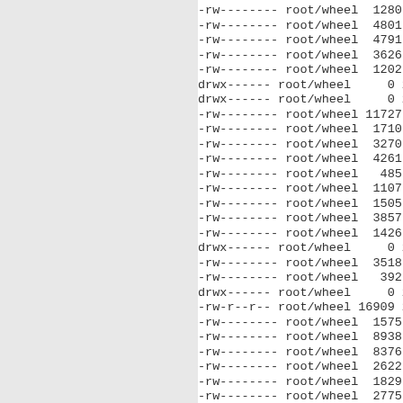-rw-------- root/wheel  1280 20
-rw-------- root/wheel  4801 20
-rw-------- root/wheel  4791 20
-rw-------- root/wheel  3626 20
-rw-------- root/wheel  1202 20
drwx------ root/wheel     0 20
drwx------ root/wheel     0 20
-rw-------- root/wheel 11727 20
-rw-------- root/wheel  1710 20
-rw-------- root/wheel  3270 20
-rw-------- root/wheel  4261 20
-rw-------- root/wheel   485 20
-rw-------- root/wheel  1107 20
-rw-------- root/wheel  1505 20
-rw-------- root/wheel  3857 20
-rw-------- root/wheel  1426 20
drwx------ root/wheel     0 20
-rw-------- root/wheel  3518 20
-rw-------- root/wheel   392 20
drwx------ root/wheel     0 20
-rw-r--r-- root/wheel 16909 20
-rw-------- root/wheel  1575 20
-rw-------- root/wheel  8938 20
-rw-------- root/wheel  8376 20
-rw-------- root/wheel  2622 20
-rw-------- root/wheel  1829 20
-rw-------- root/wheel  2775 20